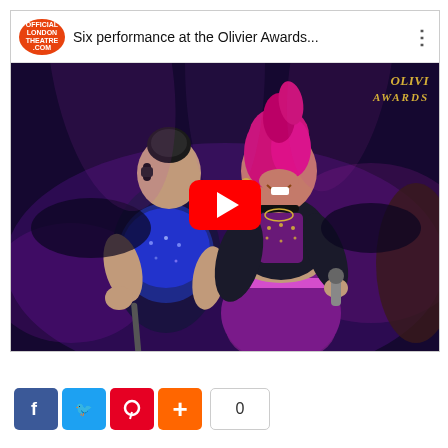[Figure (screenshot): YouTube video thumbnail showing Six musical performance at the Olivier Awards. Two performers in sparkly purple and black costumes on stage. One has bright pink/magenta hair and is singing into a microphone. The Olivier Awards logo appears in the top right. A YouTube play button overlay is centered on the image. The video title bar shows 'Six performance at the Olivier Awards...' with the Official London Theatre logo.]
0